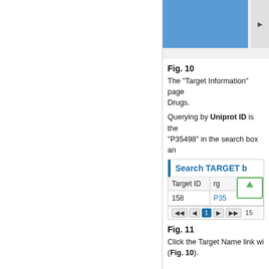[Figure (screenshot): Top portion of a blue UI bar with a gray button partially visible on the right edge]
Fig. 10
The "Target Information" page... Drugs.
Querying by Uniprot ID is the... "P35498" in the search box an...
[Figure (screenshot): Search TARGET UI showing a search bar with 'Search TARGET b...' header, a table with columns 'Target ID' and another column, row with value 158 and P35..., pagination row showing page 1 and number 15, with a green up-arrow sort button]
Fig. 11
Click the Target Name link wil... (Fig. 10).